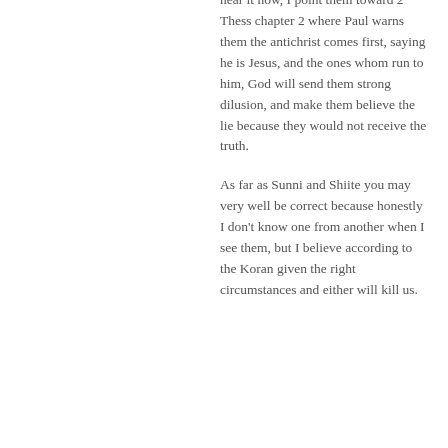hear it now, I point them toward 2 Thess chapter 2 where Paul warns them the antichrist comes first, saying he is Jesus, and the ones whom run to him, God will send them strong dilusion, and make them believe the lie because they would not receive the truth.
As far as Sunni and Shiite you may very well be correct because honestly I don't know one from another when I see them, but I believe according to the Koran given the right circumstances and either will kill us.